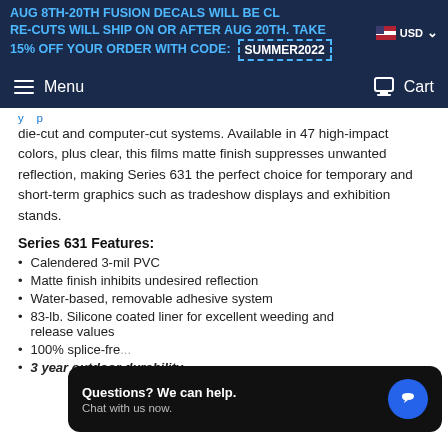AUG 8TH-20TH FUSION DECALS WILL BE CL... USD
RE-CUTS WILL SHIP ON OR AFTER AUG 20TH. TAKE
15% OFF YOUR ORDER WITH CODE: SUMMER2022
Menu   Cart
die-cut and computer-cut systems. Available in 47 high-impact colors, plus clear, this films matte finish suppresses unwanted reflection, making Series 631 the perfect choice for temporary and short-term graphics such as tradeshow displays and exhibition stands.
Series 631 Features:
Calendered 3-mil PVC
Matte finish inhibits undesired reflection
Water-based, removable adhesive system
83-lb. Silicone coated liner for excellent weeding and release values
100% splice-fre...
3 year outdoor durability